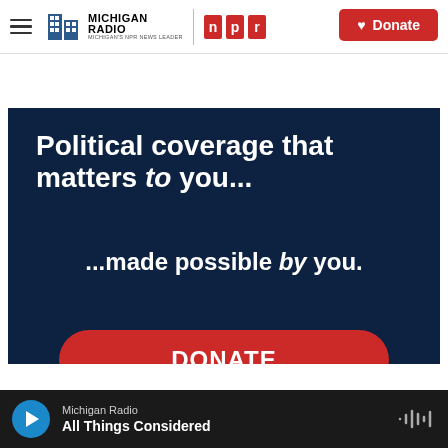[Figure (screenshot): Michigan Radio NPR website navigation bar with hamburger menu, Michigan Radio and NPR logos, and a red Donate button]
[Figure (infographic): Dark navy blue advertisement banner reading 'Political coverage that matters to you... ...made possible by you.' with a red DONATE button]
[Figure (screenshot): Audio player bar at bottom showing Michigan Radio playing 'All Things Considered' with play button and audio waveform icon]